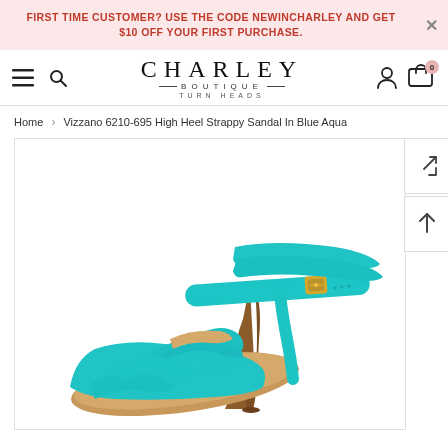FIRST TIME CUSTOMER? USE THE CODE NEWINCHARLEY AND GET $10 OFF YOUR FIRST PURCHASE.
[Figure (logo): Charley Boutique - Turn Heads logo with hamburger menu, search icon, account icon, and cart icon showing 0 items]
Home > Vizzano 6210-695 High Heel Strappy Sandal In Blue Aqua
[Figure (photo): Close-up photo of a turquoise/blue aqua high heel strappy sandal by Vizzano, model 6210-695. The sandal features multiple turquoise straps across the toe area and ankle, a gold buckle on the ankle strap, a nude/tan interior footbed, and a stiletto heel. The background is white.]